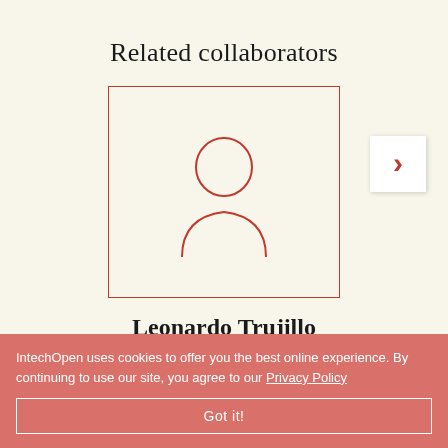Related collaborators
[Figure (illustration): Placeholder person/user silhouette icon inside a red-bordered square card]
Leonardo Trujillo
Instituto Tecnológico de Tijuana , Mexico
IntechOpen uses cookies to offer you the best online experience. By continuing to use our site, you agree to our Privacy Policy
Got it!